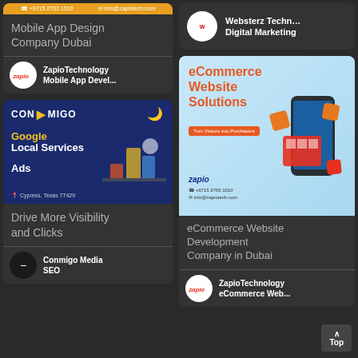[Figure (screenshot): Mobile App Design Company Dubai card with Zapio Technology logo and contact bar]
Mobile App Design Company Dubai
ZapioTechnology Mobile App Devel...
[Figure (screenshot): Conmigo Media Google Local Services Ads banner]
Drive More Visibility and Clicks
Conmigo Media SEO
Websterz Techn... Digital Marketing
[Figure (screenshot): eCommerce Website Solutions Zapio Technology banner]
eCommerce Website Development Company in Dubai
ZapioTechnology eCommerce Web...
Top